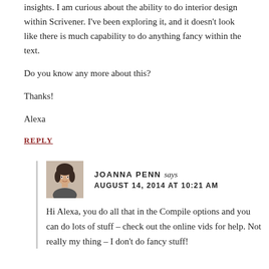insights. I am curious about the ability to do interior design within Scrivener. I've been exploring it, and it doesn't look like there is much capability to do anything fancy within the text.
Do you know any more about this?
Thanks!
Alexa
REPLY
[Figure (photo): Avatar photo of Joanna Penn, a woman with dark hair]
JOANNA PENN says
AUGUST 14, 2014 AT 10:21 AM
Hi Alexa, you do all that in the Compile options and you can do lots of stuff – check out the online vids for help. Not really my thing – I don't do fancy stuff!